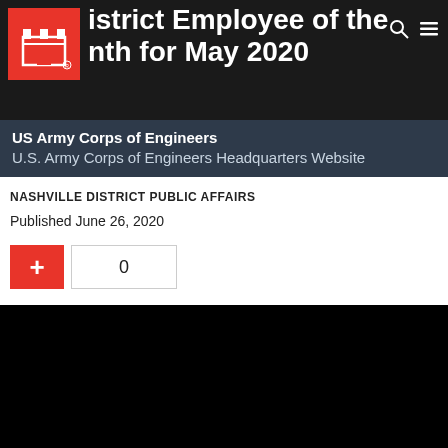District Employee of the Month for May 2020
US Army Corps of Engineers
U.S. Army Corps of Engineers Headquarters Website
NASHVILLE DISTRICT PUBLIC AFFAIRS
Published June 26, 2020
[Figure (other): Plus button and counter widget showing 0]
[Figure (photo): Large black image area (video or photo not loaded)]